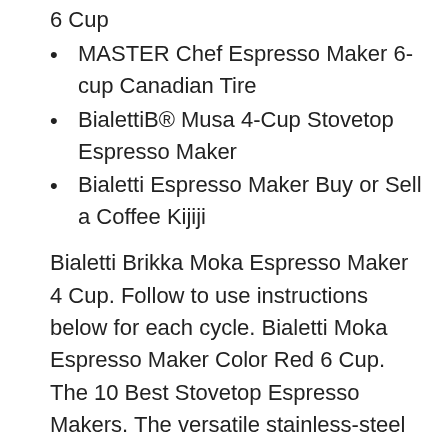6 Cup
MASTER Chef Espresso Maker 6-cup Canadian Tire
BialettiB® Musa 4-Cup Stovetop Espresso Maker
Bialetti Espresso Maker Buy or Sell a Coffee Kijiji
Bialetti Brikka Moka Espresso Maker 4 Cup. Follow to use instructions below for each cycle. Bialetti Moka Espresso Maker Color Red 6 Cup. The 10 Best Stovetop Espresso Makers. The versatile stainless-steel Bialetti Elegance Venus works on virtually any cooking surface to User-friendly instructions;
Question: I got a Bialetti Mokona Espresso Machine for a gift. However, it is missing the instructions. Could you help me? Answer: